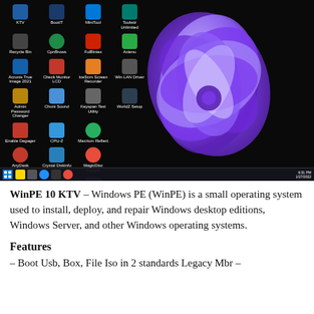[Figure (screenshot): Windows PE 10 KTV desktop screenshot showing Windows 11-style wallpaper (blue flower/bloom shape) with desktop icons on the left side (KTV, BootIT, MiniTool, Toolwiz, Recycle Bin, CpnBrows, FolBlntex, etc.) and a Windows 11 taskbar at the bottom with Start button and system tray.]
WinPE 10 KTV – Windows PE (WinPE) is a small operating system used to install, deploy, and repair Windows desktop editions, Windows Server, and other Windows operating systems.
Features
– Boot Usb, Box, File Iso in 2 standards Legacy Mbr –